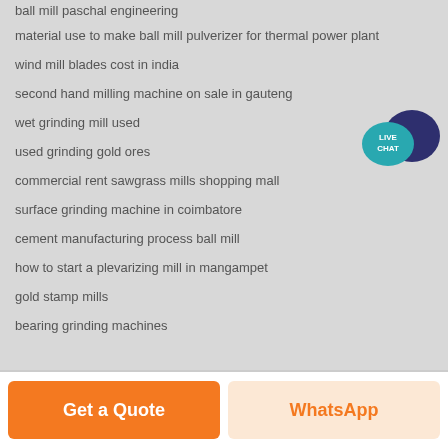ball mill paschal engineering
material use to make ball mill pulverizer for thermal power plant
wind mill blades cost in india
second hand milling machine on sale in gauteng
wet grinding mill used
used grinding gold ores
commercial rent sawgrass mills shopping mall
surface grinding machine in coimbatore
cement manufacturing process ball mill
how to start a plevarizing mill in mangampet
gold stamp mills
bearing grinding machines
[Figure (illustration): Live Chat speech bubble icon in teal/dark blue colors with text LIVE CHAT]
Get a Quote
WhatsApp